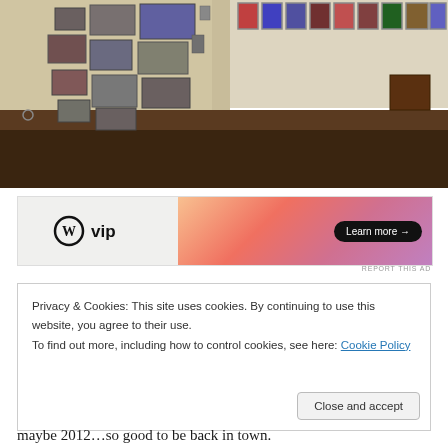[Figure (photo): Interior of an art gallery with photographs mounted on cream-colored walls. Left wall has multiple prints arranged in a cluster pattern. Right wall has a row of framed photos along the top. Dark brown wooden floor visible in the foreground.]
[Figure (other): WordPress VIP advertisement banner with WP logo on the left and 'Learn more →' button on a gradient orange-pink background.]
REPORT THIS AD
Privacy & Cookies: This site uses cookies. By continuing to use this website, you agree to their use.
To find out more, including how to control cookies, see here: Cookie Policy
Close and accept
maybe 2012…so good to be back in town.